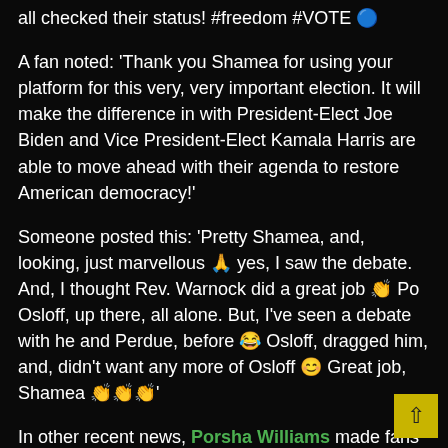all checked their status! #freedom #VOTE 🔵
A fan noted: ‘Thank you Shamea for using your platform for this very, very important election. It will make the difference in with President-Elect Joe Biden and Vice President-Elect Kamala Harris are able to move ahead with their agenda to restore American democracy!’
Someone posted this: ‘Pretty Shamea, and, looking, just marvellous 🙏 yes, I saw the debate. And, I thought Rev. Warnock did a great job 👏 Po Osloff, up there, all alone. But, I’ve seen a debate with he and Perdue, before 😂 Osloff, dragged him, and, didn’t want any more of Osloff 😊 Great job, Shamea 👏👏👏’
In other recent news, Porsha Williams made fans happy with an announcement that she shared ah of the holidays.